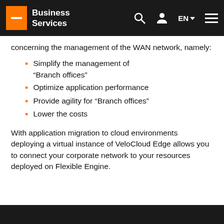Business Services | EN
concerning the management of the WAN network, namely:
Simplify the management of “Branch offices”
Optimize application performance
Provide agility for “Branch offices”
Lower the costs
With application migration to cloud environments deploying a virtual instance of VeloCloud Edge allows you to connect your corporate network to your resources deployed on Flexible Engine.